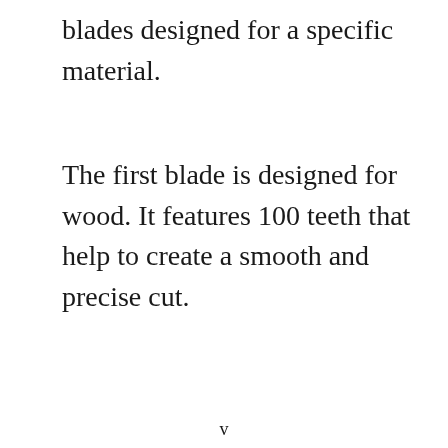blades designed for a specific material.
The first blade is designed for wood. It features 100 teeth that help to create a smooth and precise cut.
v